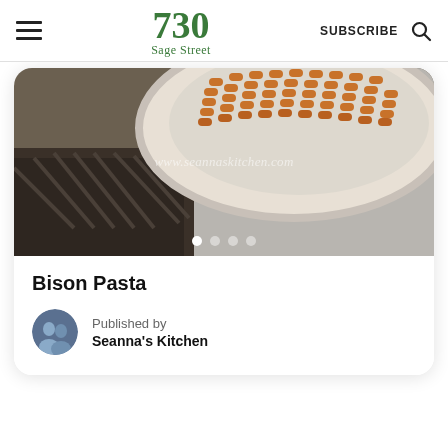730 Sage Street | SUBSCRIBE
[Figure (photo): Close-up photo of fusilli/rotini pasta in tomato sauce in a bowl on a textile background, with watermark text www.seannaskitchen.com overlaid]
Bison Pasta
Published by
Seanna's Kitchen